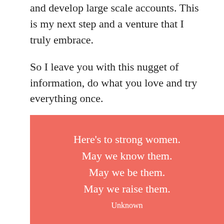and develop large scale accounts. This is my next step and a venture that I truly embrace.
So I leave you with this nugget of information, do what you love and try everything once.
[Figure (infographic): Salmon/coral colored box with white text quote: Here's to strong women. May we know them. May we be them. May we raise them. Unknown]